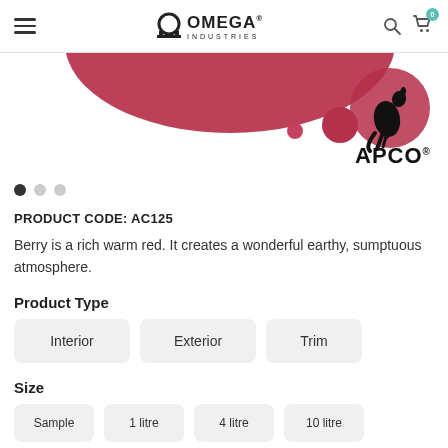Omega Industries — navigation bar with hamburger menu, logo, search and cart icons
[Figure (photo): Product image showing Berry paint color — a rich warm red, with APCO kangaroo logo on the right side. Three navigation dots below.]
PRODUCT CODE: AC125
Berry is a rich warm red. It creates a wonderful earthy, sumptuous atmosphere.
Product Type
Interior
Exterior
Trim
Size
Sample | 1 litre | 4 litre | 10 litre